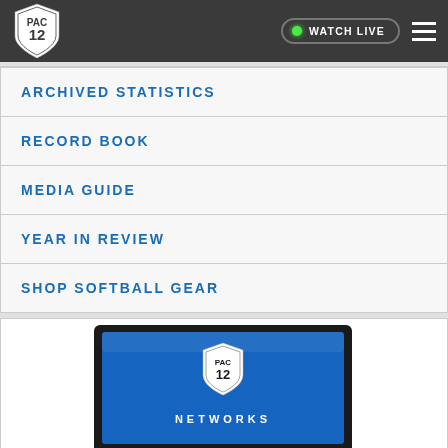PAC-12 | WATCH LIVE
ARCHIVED STATISTICS
RECORD BOOK
MEDIA GUIDE
YEAR IN REVIEW
SHOP SOFTBALL GEAR
[Figure (screenshot): PAC-12 Networks logo displayed on a flat-screen TV]